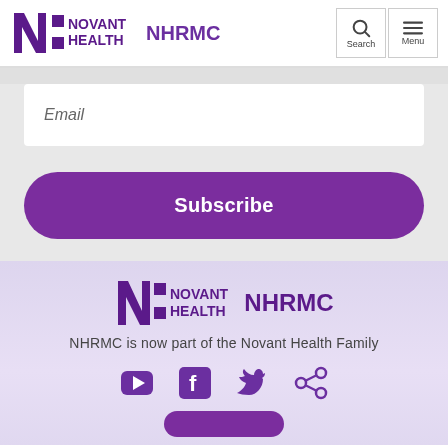[Figure (logo): Novant Health NHRMC logo in header with Search and Menu icons]
Email
Subscribe
[Figure (logo): Novant Health NHRMC logo in footer]
NHRMC is now part of the Novant Health Family
[Figure (infographic): Social media icons: YouTube, Facebook, Twitter, Share]